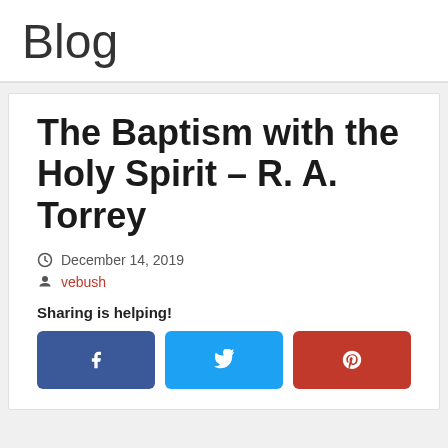Blog
The Baptism with the Holy Spirit – R. A. Torrey
December 14, 2019
vebush
Sharing is helping!
[Figure (other): Social share buttons: Facebook (blue), Twitter (light blue), Pinterest (red) with respective icons]